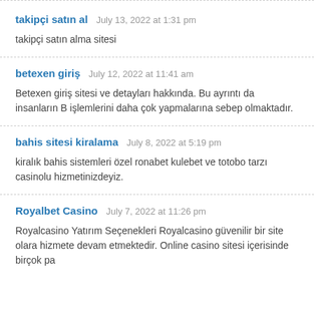takipçi satın al — July 13, 2022 at 1:31 pm
takipçi satın alma sitesi
betexen giriş — July 12, 2022 at 11:41 am
Betexen giriş sitesi ve detayları hakkında. Bu ayrıntı da insanların B işlemlerini daha çok yapmalarına sebep olmaktadır.
bahis sitesi kiralama — July 8, 2022 at 5:19 pm
kiralık bahis sistemleri özel ronabet kulebet ve totobo tarzı casinolu hizmetinizdeyiz.
Royalbet Casino — July 7, 2022 at 11:26 pm
Royalcasino Yatırım Seçenekleri Royalcasino güvenilir bir site olara hizmete devam etmektedir. Online casino sitesi içerisinde birçok pa...